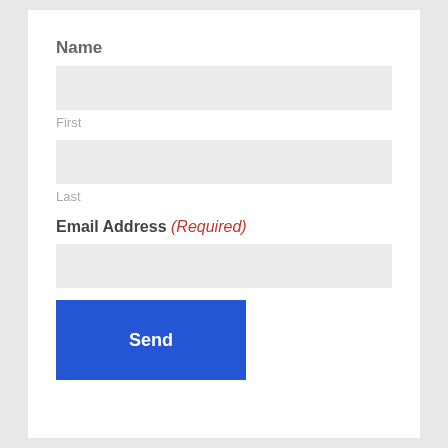Name
[Figure (other): Empty input field for First name]
First
[Figure (other): Empty input field for Last name]
Last
Email Address (Required)
[Figure (other): Empty input field for Email Address]
[Figure (other): Send button in blue]